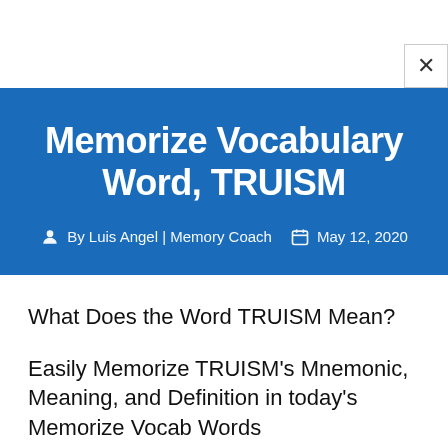Memorize Vocabulary Word, TRUISM
By Luis Angel | Memory Coach   May 12, 2020
What Does the Word TRUISM Mean?
Easily Memorize TRUISM's Mnemonic, Meaning, and Definition in today's Memorize Vocab Words